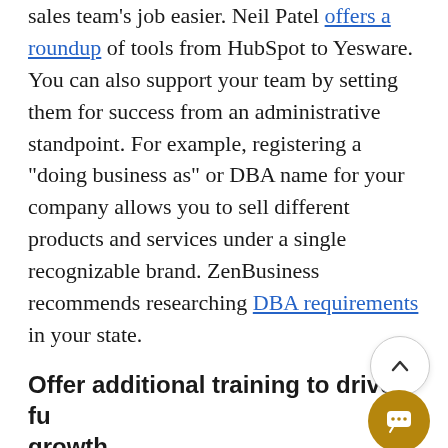sales team's job easier. Neil Patel offers a roundup of tools from HubSpot to Yesware. You can also support your team by setting them for success from an administrative standpoint. For example, registering a "doing business as" or DBA name for your company allows you to sell different products and services under a single recognizable brand. ZenBusiness recommends researching DBA requirements in your state.
Offer additional training to drive future growth
Whatever business you're in, the landscape is probably constantly evolving due to the emergence of new